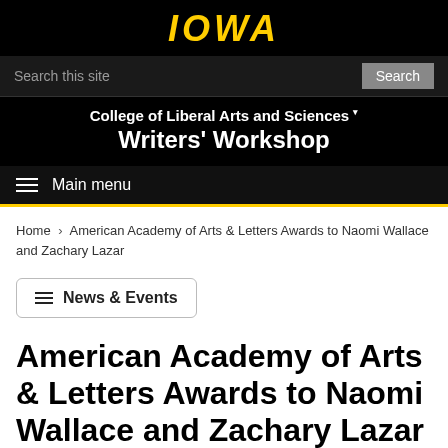IOWA
Search this site | Search
College of Liberal Arts and Sciences · Writers' Workshop
Main menu
Home › American Academy of Arts & Letters Awards to Naomi Wallace and Zachary Lazar
≡ News & Events
American Academy of Arts & Letters Awards to Naomi Wallace and Zachary Lazar